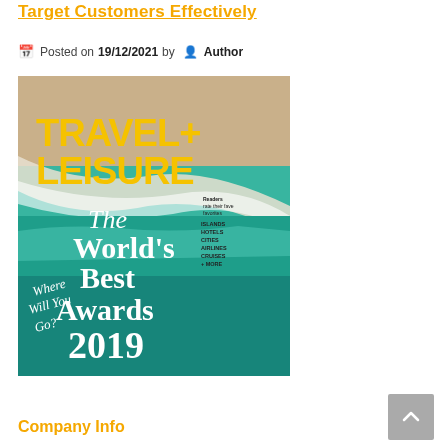Target Customers Effectively
Posted on 19/12/2021 by Author
[Figure (photo): Travel + Leisure magazine cover featuring The World's Best Awards 2019, with an aerial view of ocean waves on a beach. Yellow bold text 'TRAVEL+ LEISURE' at top. White serif text reads 'The World's Best Awards 2019'. Handwritten text 'Where Will You Go?' in cursive on left side.]
Company Info